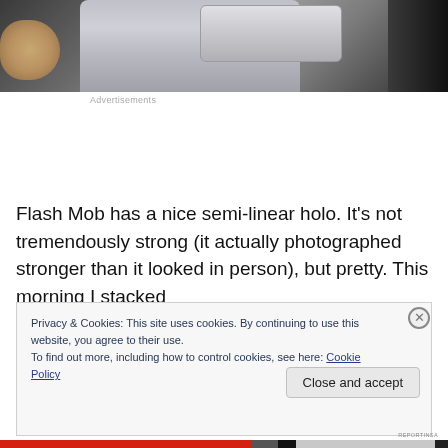[Figure (photo): Close-up photograph of a nail polish bottle being held, showing the cap and glittery silver-grey polish with dark background]
Advertisements
Flash Mob has a nice semi-linear holo. It’s not tremendously strong (it actually photographed stronger than it looked in person), but pretty. This morning I stacked
Privacy & Cookies: This site uses cookies. By continuing to use this website, you agree to their use.
To find out more, including how to control cookies, see here: Cookie Policy
Close and accept